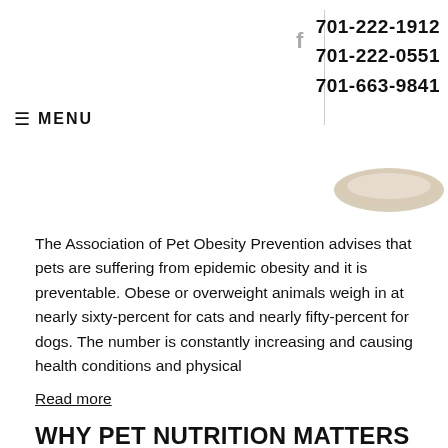f | 701-222-1912 | 701-222-0551 | 701-663-9841
≡ MENU
[Figure (photo): Partial view of a pet food bowl at the top of the page]
The Association of Pet Obesity Prevention advises that pets are suffering from epidemic obesity and it is preventable. Obese or overweight animals weigh in at nearly sixty-percent for cats and nearly fifty-percent for dogs. The number is constantly increasing and causing health conditions and physical
Read more
WHY PET NUTRITION MATTERS
Category: Newsletter Library, Nutrition & Food
[Figure (photo): A scoop filled with colorful pet food kibble (orange, red, tan pieces)]